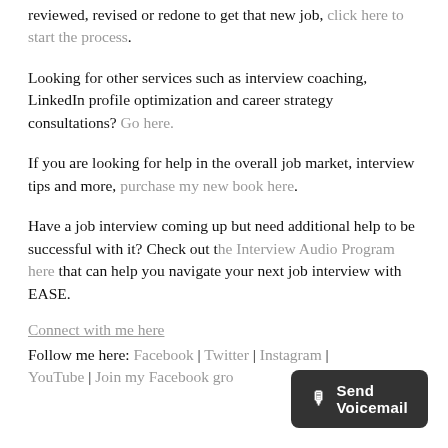reviewed, revised or redone to get that new job, click here to start the process.
Looking for other services such as interview coaching, LinkedIn profile optimization and career strategy consultations? Go here.
If you are looking for help in the overall job market, interview tips and more, purchase my new book here.
Have a job interview coming up but need additional help to be successful with it? Check out the Interview Audio Program here that can help you navigate your next job interview with EASE.
Connect with me here
Follow me here: Facebook | Twitter | Instagram | YouTube | Join my Facebook gro...
[Figure (other): Send Voicemail button overlay in dark gray with microphone icon]